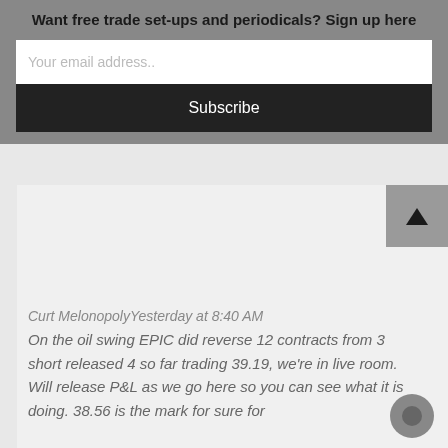Want free trade set-ups and periodicals? Sign up here
Your email address..
Subscribe
Curt MelonopolyYesterday at 8:40 AM
On the oil swing EPIC did reverse 12 contracts from 3 short released 4 so far trading 39.19, we're in live room. Will release P&L as we go here so you can see what it is doing. 38.56 is the mark for sure for